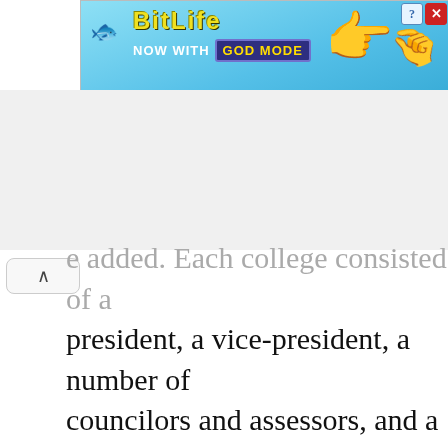[Figure (other): BitLife advertisement banner: 'NOW WITH GOD MODE' on a blue background with a hand pointing and a sperm icon. Close (X) and help (?) buttons in top right.]
e added. Each college consisted of a president, a vice-president, a number of councilors and assessors, and a procurator. Some foreigners were included in various colleges but not as president. Peter believed he did not have enough loyal and talented persons to put in full charge of the various departments. Peter preferred to rely on groups of individuals who would keep check on one another.[3] Decisions depended on the majorit